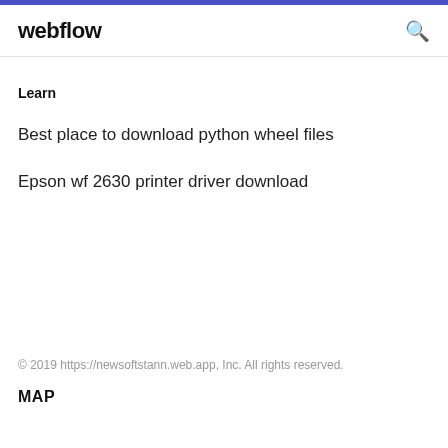webflow
Learn
Best place to download python wheel files
Epson wf 2630 printer driver download
© 2019 https://newsoftstann.web.app, Inc. All rights reserved.
MAP